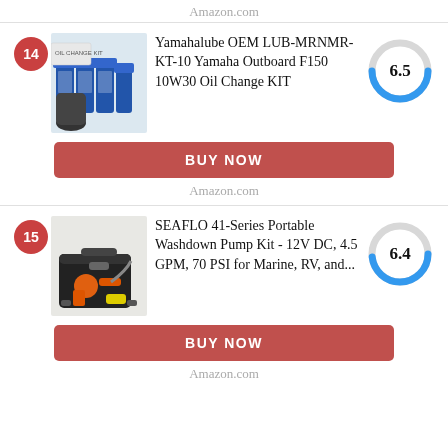Amazon.com
[Figure (photo): Product image of Yamahalube OEM oil change kit with blue oil bottles and filter]
Yamahalube OEM LUB-MRNMR-KT-10 Yamaha Outboard F150 10W30 Oil Change KIT
[Figure (donut-chart): Score gauge showing 6.5 out of 10, blue arc on grey circle]
BUY NOW
Amazon.com
[Figure (photo): Product image of SEAFLO 41-Series Portable Washdown Pump Kit in black case with orange pump]
SEAFLO 41-Series Portable Washdown Pump Kit - 12V DC, 4.5 GPM, 70 PSI for Marine, RV, and...
[Figure (donut-chart): Score gauge showing 6.4 out of 10, blue arc on grey circle]
BUY NOW
Amazon.com